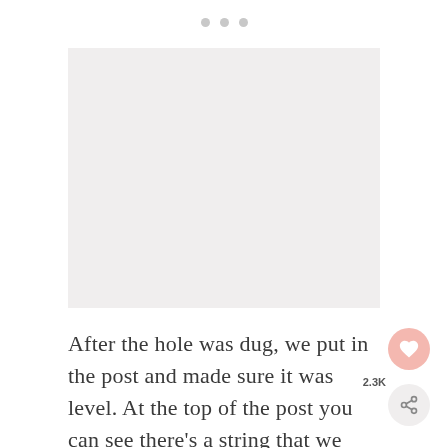[Figure (photo): Placeholder image area (light gray background, photo of post in hole)]
After the hole was dug, we put in the post and made sure it was level. At the top of the post you can see there’s a string that we used to make sure all the posts line up. Once the post was level and plumb, we added stakes to hold it in place. Next, we filled the hole with dry concrete and water. Make sure to follow